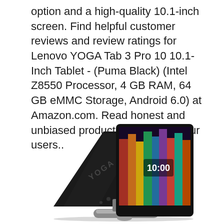option and a high-quality 10.1-inch screen. Find helpful customer reviews and review ratings for Lenovo YOGA Tab 3 Pro 10 10.1-Inch Tablet - (Puma Black) (Intel Z8550 Processor, 4 GB RAM, 64 GB eMMC Storage, Android 6.0) at Amazon.com. Read honest and unbiased product reviews from our users..
[Figure (photo): Product photo of Lenovo YOGA Tab 3 Pro tablet shown from the back and front, with a kickstand folded out. The back is matte black with 'YOGA' branding. The front screen displays colorful content. The tablet rests on a cylindrical silver stand/projector base.]